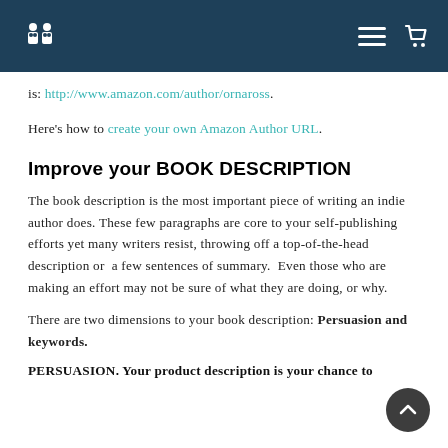[Navigation bar with logo, hamburger menu, and cart icon]
is: http://www.amazon.com/author/ornaross.
Here's how to create your own Amazon Author URL.
Improve your BOOK DESCRIPTION
The book description is the most important piece of writing an indie author does. These few paragraphs are core to your self-publishing efforts yet many writers resist, throwing off a top-of-the-head description or  a few sentences of summary.  Even those who are making an effort may not be sure of what they are doing, or why.
There are two dimensions to your book description: Persuasion and keywords.
PERSUASION. Your product description is your chance to